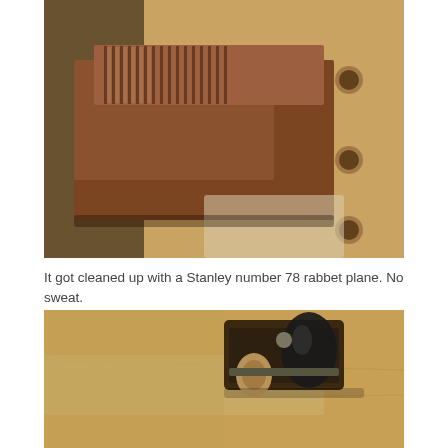[Figure (photo): Close-up photograph of a wooden block with a series of parallel ridges/groins cut into its side, sitting on a wooden workbench with holes. A translucent plastic object is partially visible at the bottom.]
It got cleaned up with a Stanley number 78 rabbet plane. No sweat.
[Figure (photo): Photograph of a hand tool (Stanley No. 78 rabbet plane) with a black and tan handle sitting on a wooden workbench surface.]